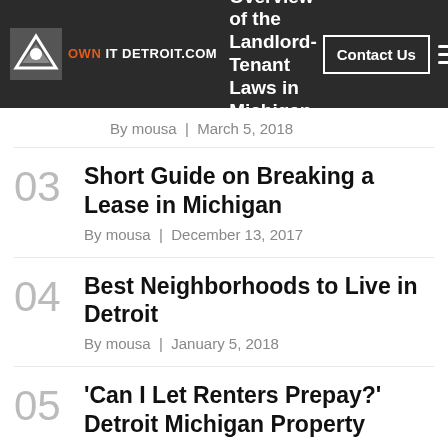OWN IT DETROIT.COM — Overview of the Landlord-Tenant Laws in Michigan | Contact Us
By mousa | March 5, 2018
03 Short Guide on Breaking a Lease in Michigan — By mousa | December 13, 2017
04 Best Neighborhoods to Live in Detroit — By mousa | January 5, 2018
05 'Can I Let Renters Prepay?' Detroit Michigan Property